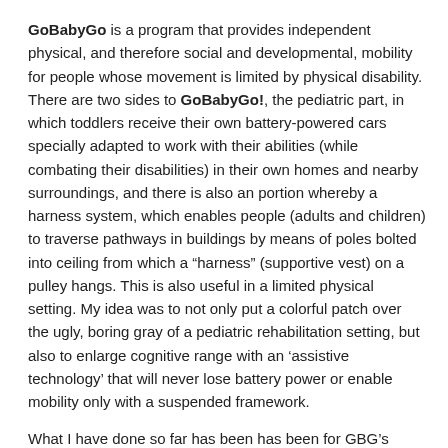GoBabyGo is a program that provides independent physical, and therefore social and developmental, mobility for people whose movement is limited by physical disability. There are two sides to GoBabyGo!, the pediatric part, in which toddlers receive their own battery-powered cars specially adapted to work with their abilities (while combating their disabilities) in their own homes and nearby surroundings, and there is also an portion whereby a harness system, which enables people (adults and children) to traverse pathways in buildings by means of poles bolted into ceiling from which a “harness” (supportive vest) on a pulley hangs. This is also useful in a limited physical setting. My idea was to not only put a colorful patch over the ugly, boring gray of a pediatric rehabilitation setting, but also to enlarge cognitive range with an ‘assistive technology’ that will never lose battery power or enable mobility only with a suspended framework.
What I have done so far has been has been for GBG’s